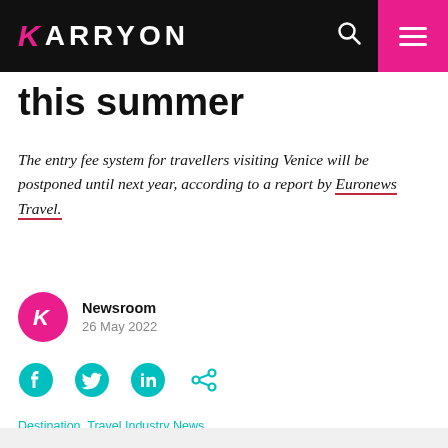KARRYON
this summer
The entry fee system for travellers visiting Venice will be postponed until next year, according to a report by Euronews Travel.
Newsroom
26 May 2022
Destination, Travel Industry News